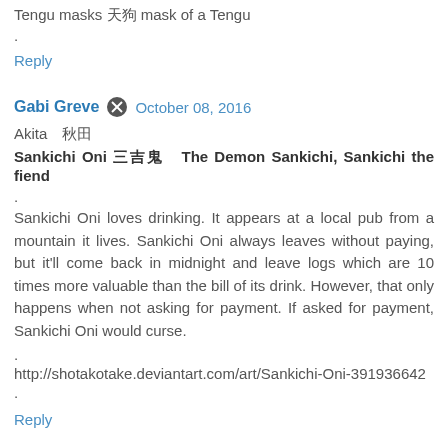Tengu masks 天狗 mask of a Tengu
.
Reply
Gabi Greve ✏ October 08, 2016
Akita　秋田
Sankichi Oni 三吉鬼　The Demon Sankichi, Sankichi the fiend
.
Sankichi Oni loves drinking. It appears at a local pub from a mountain it lives. Sankichi Oni always leaves without paying, but it'll come back in midnight and leave logs which are 10 times more valuable than the bill of its drink. However, that only happens when not asking for payment. If asked for payment, Sankichi Oni would curse.
.
http://shotakotake.deviantart.com/art/Sankichi-Oni-391936642
.
Reply